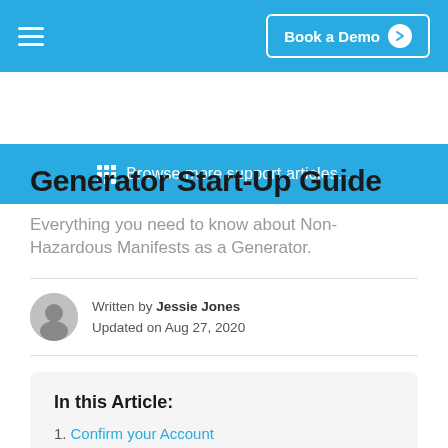Book a Demo
Browse more support articles...
Generator Start-Up Guide
Everything you need to know about Non-Hazardous Manifests as a Generator.
Written by Jessie Jones
Updated on Aug 27, 2020
In this Article:
1. Confirm your Account